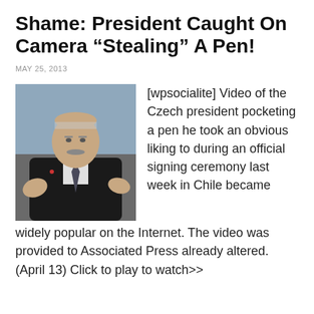Shame: President Caught On Camera “Stealing” A Pen!
MAY 25, 2013
[Figure (photo): Photo of an older man in a dark suit with a tie, gesturing with his hands, against a blue-grey background.]
[wpsocialite] Video of the Czech president pocketing a pen he took an obvious liking to during an official signing ceremony last week in Chile became widely popular on the Internet. The video was provided to Associated Press already altered. (April 13) Click to play to watch>>